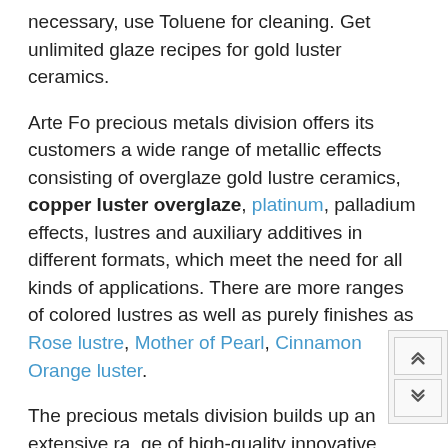necessary, use Toluene for cleaning. Get unlimited glaze recipes for gold luster ceramics.
Arte Fo precious metals division offers its customers a wide range of metallic effects consisting of overglaze gold lustre ceramics, copper luster overglaze, platinum, palladium effects, lustres and auxiliary additives in different formats, which meet the need for all kinds of applications. There are more ranges of colored lustres as well as purely finishes as Rose lustre, Mother of Pearl, Cinnamon Orange luster.
The precious metals division builds up an extensive range of high-quality innovative products, which together with its personal treatment of its customers makes it stand out from its competitors. More pure liquid gold for ceramics you can find in Precious Metal gold, silver, platinum category.
When we are talking about ceramic lustres we should mention high quallity manufacturer Botz glazes who